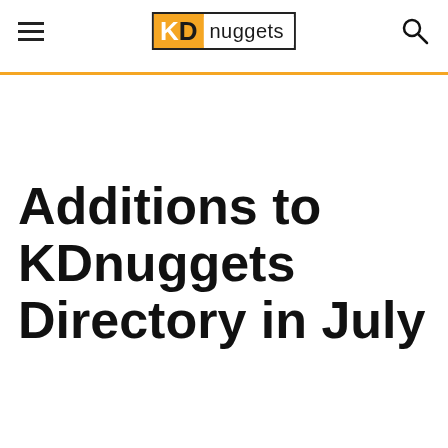KD nuggets
Additions to KDnuggets Directory in July
15 new/updated online education options in Analytics, Data Mining, and Data Science, 18 new